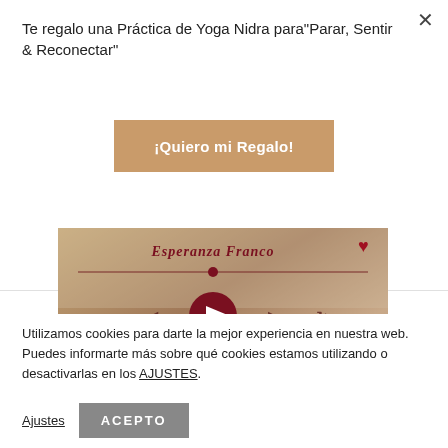Te regalo una Práctica de Yoga Nidra para"Parar, Sentir & Reconectar"
¡Quiero mi Regalo!
[Figure (screenshot): Music player UI showing artist name 'Esperanza Franco', a progress bar, playback controls (shuffle, previous, play, next, repeat), a heart icon, and a teal overlay at the bottom reading 'CUENTAME TU PARTO' in uppercase letters.]
Utilizamos cookies para darte la mejor experiencia en nuestra web. Puedes informarte más sobre qué cookies estamos utilizando o desactivarlas en los AJUSTES.
Ajustes
ACEPTO